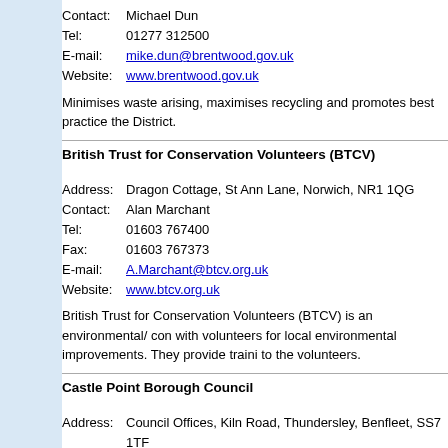Contact: Michael Dun
Tel: 01277 312500
E-mail: mike.dun@brentwood.gov.uk
Website: www.brentwood.gov.uk
Minimises waste arising, maximises recycling and promotes best practice the District.
British Trust for Conservation Volunteers (BTCV)
Address: Dragon Cottage, St Ann Lane, Norwich, NR1 1QG
Contact: Alan Marchant
Tel: 01603 767400
Fax: 01603 767373
E-mail: A.Marchant@btcv.org.uk
Website: www.btcv.org.uk
British Trust for Conservation Volunteers (BTCV) is an environmental/ con with volunteers for local environmental improvements. They provide traini to the volunteers.
Castle Point Borough Council
Address: Council Offices, Kiln Road, Thundersley, Benfleet, SS7 1TF